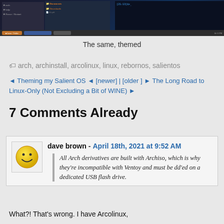[Figure (screenshot): Dark-themed desktop screenshot showing file manager and terminal windows]
The same, themed
arch, archinstall, arcolinux, linux, rebornos, salientos
◄ Theming my Salient OS ◄ [newer] | [older ] ► The Long Road to Linux-Only (Not Excluding a Bit of WINE) ►
7 Comments Already
dave brown - April 18th, 2021 at 9:52 AM
All Arch derivatives are built with Archiso, which is why they're incompatible with Ventoy and must be dd'ed on a dedicated USB flash drive.
What?! That's wrong. I have Arcolinux,